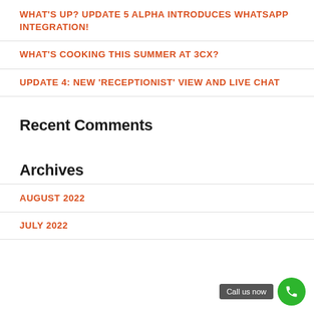WHAT'S UP? UPDATE 5 ALPHA INTRODUCES WHATSAPP INTEGRATION!
WHAT'S COOKING THIS SUMMER AT 3CX?
UPDATE 4: NEW 'RECEPTIONIST' VIEW AND LIVE CHAT
Recent Comments
Archives
AUGUST 2022
JULY 2022